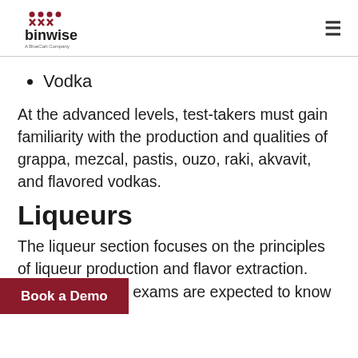binwise - A BlueCart Company
Vodka
At the advanced levels, test-takers must gain familiarity with the production and qualities of grappa, mezcal, pastis, ouzo, raki, akvavit, and flavored vodkas.
Liqueurs
The liqueur section focuses on the principles of liqueur production and flavor extraction. Those sitting for exams are expected to know